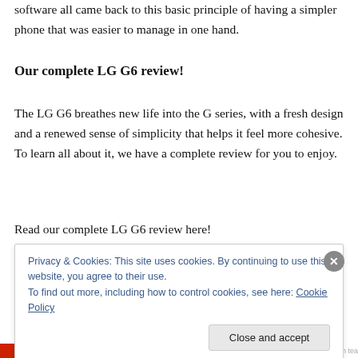software all came back to this basic principle of having a simpler phone that was easier to manage in one hand.
Our complete LG G6 review!
The LG G6 breathes new life into the G series, with a fresh design and a renewed sense of simplicity that helps it feel more cohesive. To learn all about it, we have a complete review for you to enjoy.
Read our complete LG G6 review here!
Privacy & Cookies: This site uses cookies. By continuing to use this website, you agree to their use.
To find out more, including how to control cookies, see here: Cookie Policy
Close and accept